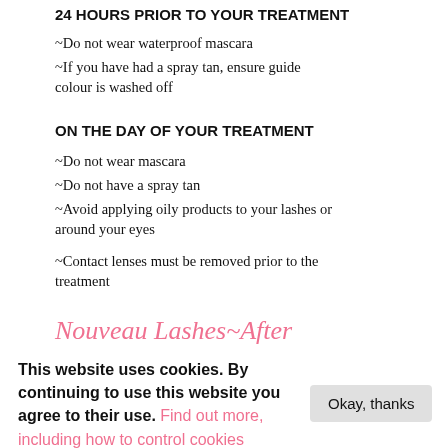24 HOURS PRIOR TO YOUR TREATMENT
~Do not wear waterproof mascara
~If you have had a spray tan, ensure guide colour is washed off
ON THE DAY OF YOUR TREATMENT
~Do not wear mascara
~Do not have a spray tan
~Avoid applying oily products to your lashes or around your eyes
~Contact lenses must be removed prior to the treatment
Nouveau Lashes~After
This website uses cookies. By continuing to use this website you agree to their use. Find out more, including how to control cookies
Okay, thanks